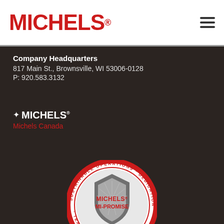[Figure (logo): Michels logo in red bold text with registered trademark symbol, top-left of white header bar]
[Figure (other): Hamburger menu icon (three horizontal lines) in top-right of white header bar]
Company Headquarters
817 Main St., Brownsville, WI 53006-0128
P: 920.583.3132
[Figure (logo): Michels Canada logo with maple leaf and MICHELS text in white, with 'Michels Canada' in red below]
[Figure (logo): Michels MI-PROMISE circular badge seal with shield graphic, text reading: SUSTAINABLE OPERATIONS · DEDICATION · SAFETY & ENVIRONMENT · TEAMWORK · INTEGRITY around the border, and MICHELS MI-PROMISE in center]